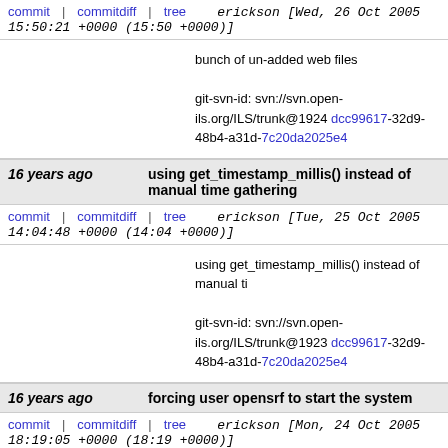erickson [Wed, 26 Oct 2005 15:50:21 +0000 (15:50 +0000)]
bunch of un-added web files

git-svn-id: svn://svn.open-ils.org/ILS/trunk@1924 dcc99617-32d9-48b4-a31d-7c20da2025e4
16 years ago  using get_timestamp_millis() instead of manual time gathering
erickson [Tue, 25 Oct 2005 14:04:48 +0000 (14:04 +0000)]
using get_timestamp_millis() instead of manual ti...

git-svn-id: svn://svn.open-ils.org/ILS/trunk@1923 dcc99617-32d9-48b4-a31d-7c20da2025e4
16 years ago  forcing user opensrf to start the system
erickson [Mon, 24 Oct 2005 18:19:05 +0000 (18:19 +0000)]
forcing user opensrf to start the system
added -pipe for faster compile